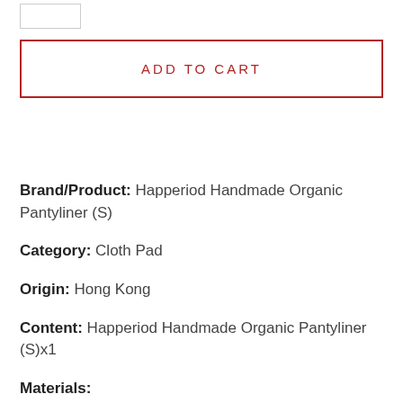[Figure (other): Small thumbnail image placeholder box (white rectangle with grey border)]
ADD TO CART
Brand/Product: Happeriod Handmade Organic Pantyliner (S)
Category: Cloth Pad
Origin: Hong Kong
Content: Happeriod Handmade Organic Pantyliner (S)x1
Materials: